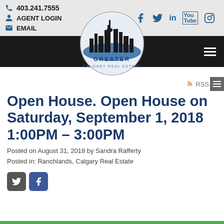403.241.7555 | AGENT LOGIN | EMAIL
[Figure (logo): Greater Calgary Real Estate logo - circular badge with city skyline silhouette, blue wave, and text GREATER CALGARY REAL ESTATE]
RSS
Open House. Open House on Saturday, September 1, 2018 1:00PM - 3:00PM
Posted on August 31, 2018 by Sandra Rafferty
Posted in: Ranchlands, Calgary Real Estate